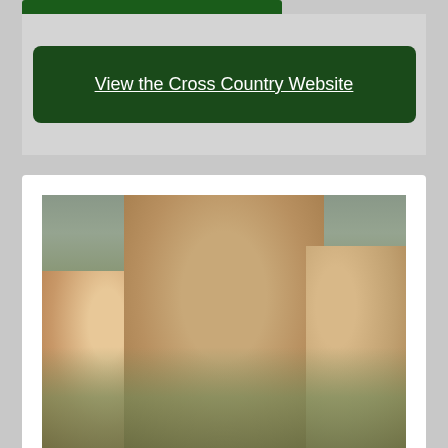View the Cross Country Website
[Figure (photo): Group photo of cross country runners, with a lean male runner in a green jersey in the foreground, smiling, and other runners visible in the background outdoors]